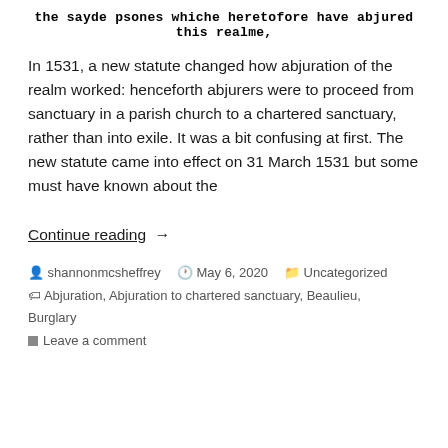the sayde psones whiche heretofore have abjured this realme,
In 1531, a new statute changed how abjuration of the realm worked: henceforth abjurers were to proceed from sanctuary in a parish church to a chartered sanctuary, rather than into exile. It was a bit confusing at first. The new statute came into effect on 31 March 1531 but some must have known about the
Continue reading →
shannonmcsheffrey   May 6, 2020   Uncategorized  Abjuration, Abjuration to chartered sanctuary, Beaulieu, Burglary  Leave a comment